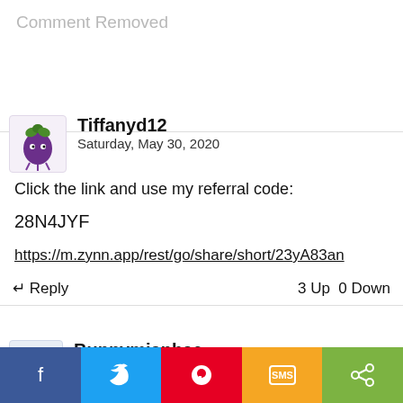Comment Removed
Tiffanyd12
Saturday, May 30, 2020
Click the link and use my referral code:

28N4JYF

https://m.zynn.app/rest/go/share/short/23yA83an
↵ Reply   3 Up  0 Down
Bunnymianhae
Friday, May 29, 2020
YTXSSND Please use my code! Thank you!
↵ Reply   2 Up  0 Down